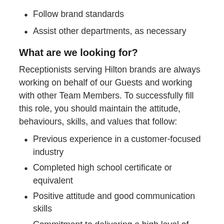Follow brand standards
Assist other departments, as necessary
What are we looking for?
Receptionists serving Hilton brands are always working on behalf of our Guests and working with other Team Members. To successfully fill this role, you should maintain the attitude, behaviours, skills, and values that follow:
Previous experience in a customer-focused industry
Completed high school certificate or equivalent
Positive attitude and good communication skills
Commitment to delivering a high level of